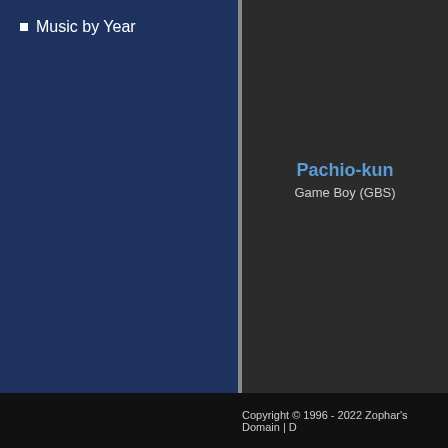Music by Year
Pachio-kun
Game Boy (GBS)
Pocket Kanjirou
Game Boy (GBS)
Copyright © 1996 - 2022 Zophar's Domain | D